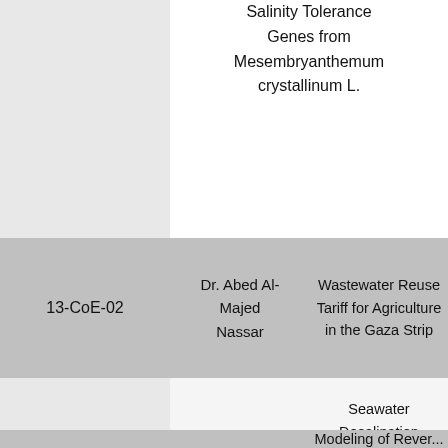Salinity Tolerance Genes from Mesembryanthemum crystallinum L.
| ID | Author | Title |
| --- | --- | --- |
| 13-CoE-02 | Dr. Abed Al-Majed Nassar | Wastewater Reuse Tariff for Agriculture in the Gaza Strip |
| 13-CoE-01 | Redwan Husain Abu Krayeem | Seawater Desalination Characteristics Using Variable Combinations of NF and RO Membranes |
|  |  | Modeling of Reverse... |